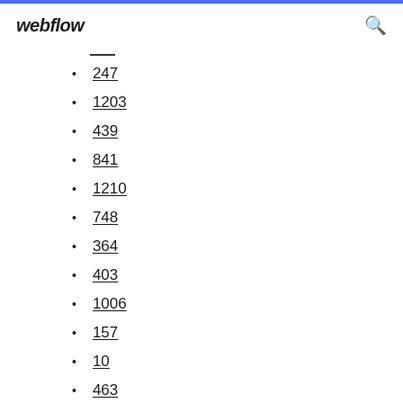webflow
247
1203
439
841
1210
748
364
403
1006
157
10
463